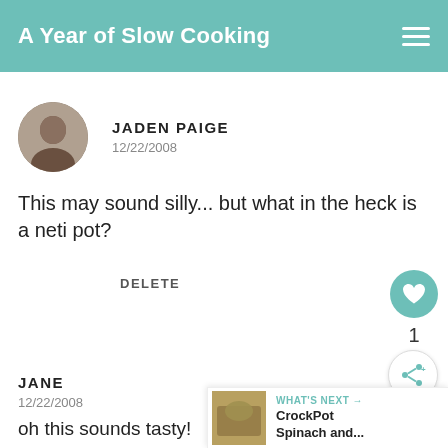A Year of Slow Cooking
JADEN PAIGE
12/22/2008
This may sound silly... but what in the heck is a neti pot?
DELETE
JANE
12/22/2008
oh this sounds tasty!
is it possible to re-heat the dip without ruining it?
WHAT'S NEXT → CrockPot Spinach and...